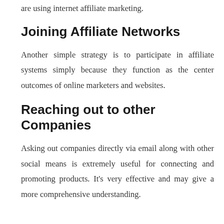are using internet affiliate marketing.
Joining Affiliate Networks
Another simple strategy is to participate in affiliate systems simply because they function as the center outcomes of online marketers and websites.
Reaching out to other Companies
Asking out companies directly via email along with other social means is extremely useful for connecting and promoting products. It's very effective and may give a more comprehensive understanding.